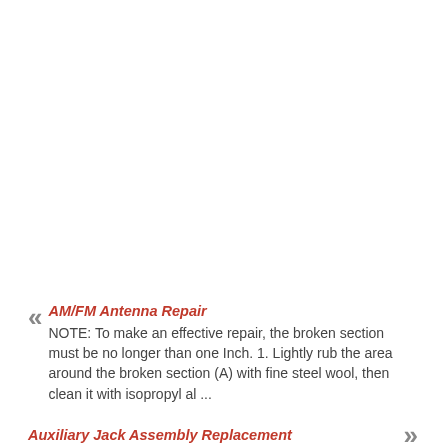AM/FM Antenna Repair
NOTE: To make an effective repair, the broken section must be no longer than one Inch. 1. Lightly rub the area around the broken section (A) with fine steel wool, then clean it with isopropyl al ...
Auxiliary Jack Assembly Replacement